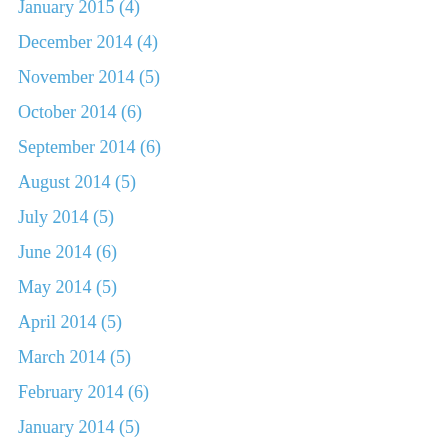January 2015 (4)
December 2014 (4)
November 2014 (5)
October 2014 (6)
September 2014 (6)
August 2014 (5)
July 2014 (5)
June 2014 (6)
May 2014 (5)
April 2014 (5)
March 2014 (5)
February 2014 (6)
January 2014 (5)
December 2013 (4)
November 2013 (4)
October 2013 (4)
September 2013 (5)
August 2013 (4)
July 2013 (3)
June 2013 (4)